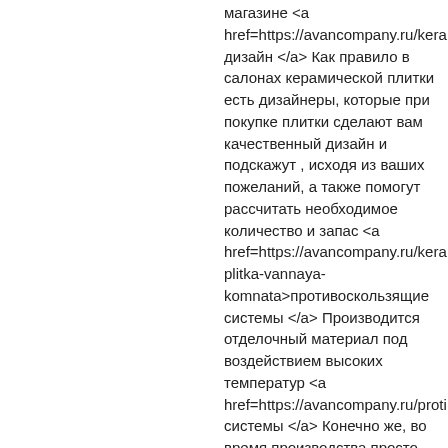магазине <a href=https://avancompany.ru/kera дизайн </a> Как правило в салонах керамической плитки есть дизайнеры, которые при покупке плитки сделают вам качественный дизайн и подскажут , исходя из ваших пожеланий, а также помогут рассчитать необходимое количество и запас <a href=https://avancompany.ru/kera plitka-vannaya-komnata>противоскользящие системы </a> Производится отделочный материал под воздействием высоких температур <a href=https://avancompany.ru/proti системы </a> Конечно же, во время производства просто убивается любо